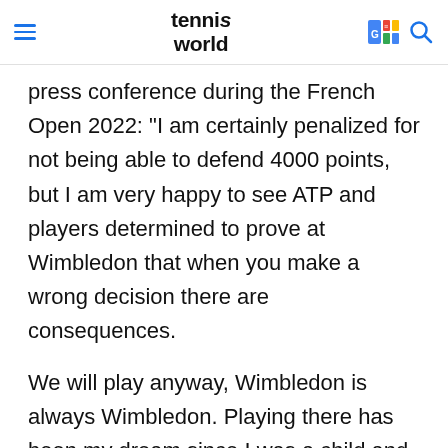tennis world
press conference during the French Open 2022: "I am certainly penalized for not being able to defend 4000 points, but I am very happy to see ATP and players determined to prove at Wimbledon that when you make a wrong decision there are consequences.
We will play anyway, Wimbledon is always Wimbledon. Playing there has been my dream since I was a child and I have never seen it as a mere question of points or prize money." Nadal explained: "Russian and Belarusian tennis players cannot do much.